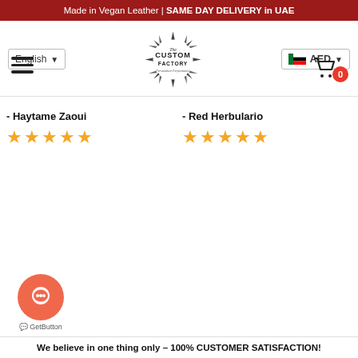Made in Vegan Leather | SAME DAY DELIVERY in UAE
[Figure (screenshot): Navigation bar with English language selector, The Custom Factory logo, AED currency selector, hamburger menu, and cart icon with badge 0]
- Red Herbulario
[Figure (infographic): 5 gold star rating for Red Herbulario]
- Haytame Zaoui
[Figure (infographic): 5 gold star rating for Haytame Zaoui]
[Figure (logo): GetButton chat widget - orange circle with chat icon, labeled GetButton]
We believe in one thing only – 100% CUSTOMER SATISFACTION!